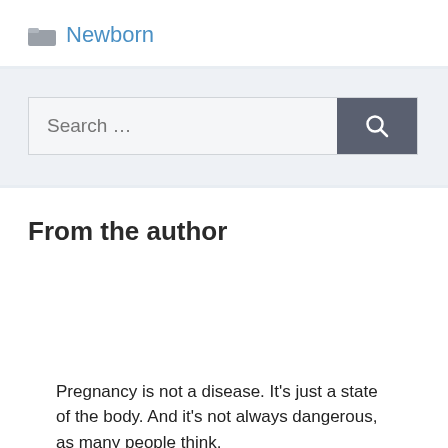Newborn
[Figure (screenshot): Search bar with text input field reading 'Search …' and a dark grey search button with magnifying glass icon]
From the author
Pregnancy is not a disease. It's just a state of the body. And it's not always dangerous, as many people think.